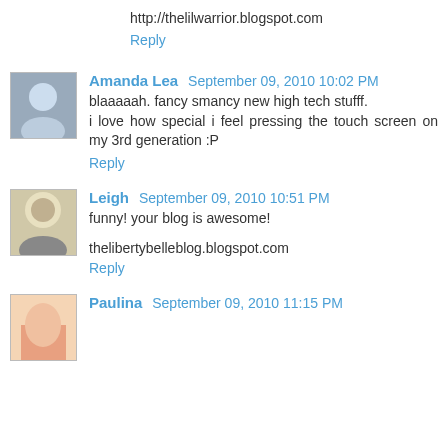http://thelilwarrior.blogspot.com
Reply
Amanda Lea  September 09, 2010 10:02 PM
blaaaaah. fancy smancy new high tech stufff.
i love how special i feel pressing the touch screen on my 3rd generation :P
Reply
Leigh  September 09, 2010 10:51 PM
funny! your blog is awesome!
thelibertybelleblog.blogspot.com
Reply
Paulina  September 09, 2010 11:15 PM